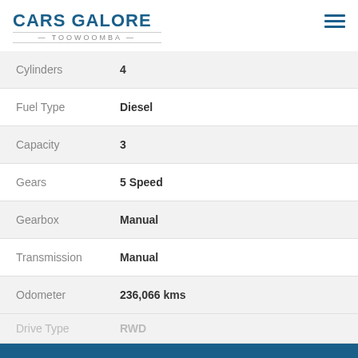Cars Galore Toowoomba
| Field | Value |
| --- | --- |
| Cylinders | 4 |
| Fuel Type | Diesel |
| Capacity | 3 |
| Gears | 5 Speed |
| Gearbox | Manual |
| Transmission | Manual |
| Odometer | 236,066 kms |
| Drive Type | RWD |
CONTACT US
FINANCE THIS VEHICLE